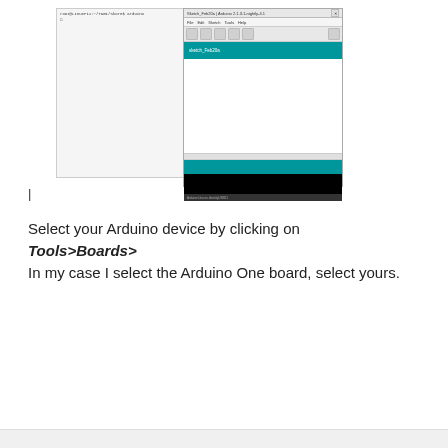[Figure (screenshot): Screenshot showing a terminal window on the left with command line text 'root@linuxPi1:~/Tami/Skore$ arduino' and an Arduino IDE window on the right with teal toolbar, editor area, teal bar and black console bar at bottom.]
|

Select your Arduino device by clicking on Tools>Boards>
In my case I select the Arduino One board, select yours.